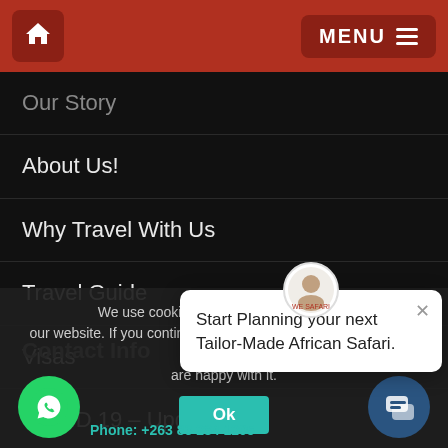Home | MENU
Our Story
About Us!
Why Travel With Us
Travel Guide
Visas
COVID 19 – Updates
Contact Info
Phone: +263 83 284 1205
We use cookies to ensure the best experience on our website. If you continue to use this site we will assume that you are happy with it.
Ok
Start Planning your next Tailor-Made African Safari.